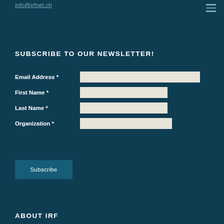info@irfnet.ch
SUBSCRIBE TO OUR NEWSLETTER!
Email Address *
First Name *
Last Name *
Organization *
Subscribe
ABOUT IRF